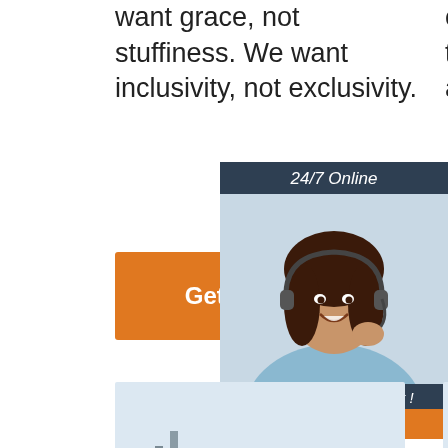want grace, not stuffiness. We want inclusivity, not exclusivity.
corn grains and leaving the cobs intact. In attainment to
[Figure (other): Orange 'Get Price' button (left)]
[Figure (other): Orange 'Get Price' button (right)]
[Figure (other): 24/7 Online chat widget with smiling woman wearing headset, 'Click here for free chat!' text, and orange QUOTATION button]
[Figure (photo): Industrial electric grain milling equipment on light blue background]
[Figure (photo): Large industrial grain processing plant on light blue background]
Electric Grain Mills - Amazon.Com
MAYA
E-books.
Velvet chairs
Mill Hotel And Spa, Chester
[Figure (logo): TOP circular orange dot logo]